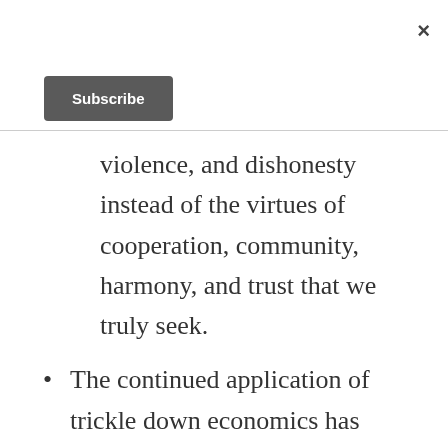×
[Figure (other): Subscribe button — dark gray rounded rectangle with white bold text 'Subscribe']
violence, and dishonesty instead of the virtues of cooperation, community, harmony, and trust that we truly seek.
The continued application of trickle down economics has served to enable a small